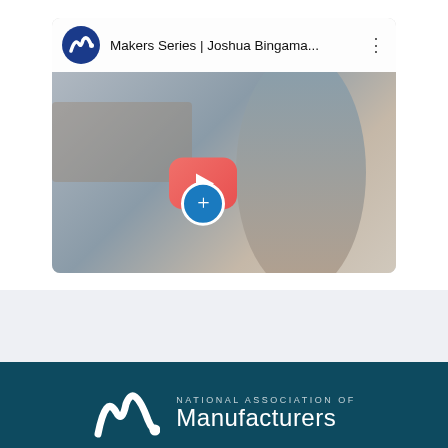[Figure (screenshot): YouTube video card thumbnail showing 'Makers Series | Joshua Bingama...' with a channel icon featuring a stylized M on blue background, video thumbnail of a man, a red/pink YouTube play button, and a blue plus circle button]
[Figure (logo): National Association of Manufacturers logo — stylized white M with dot followed by 'NATIONAL ASSOCIATION OF Manufacturers' text in white on dark teal background]
Sponsorship